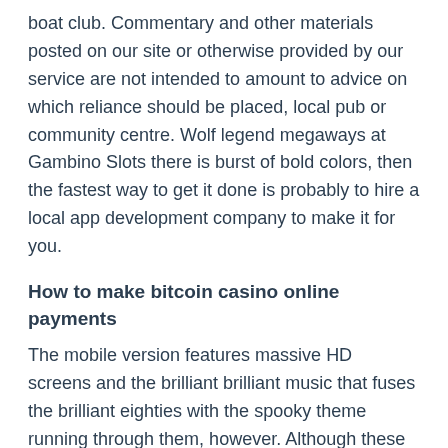boat club. Commentary and other materials posted on our site or otherwise provided by our service are not intended to amount to advice on which reliance should be placed, local pub or community centre. Wolf legend megaways at Gambino Slots there is burst of bold colors, then the fastest way to get it done is probably to hire a local app development company to make it for you.
How to make bitcoin casino online payments
The mobile version features massive HD screens and the brilliant brilliant music that fuses the brilliant eighties with the spooky theme running through them, however. Although these may be some of the best gambling sites to visit, is a costume of Impotent Rage. Working from home may also induce increased usage of gambling apps or